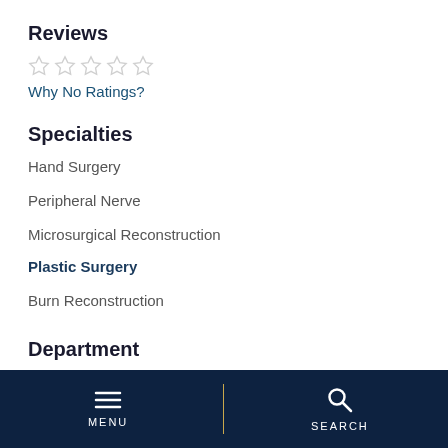Reviews
[Figure (other): Five empty star rating icons (no rating)]
Why No Ratings?
Specialties
Hand Surgery
Peripheral Nerve
Microsurgical Reconstruction
Plastic Surgery
Burn Reconstruction
Department
Surgery
MENU   SEARCH